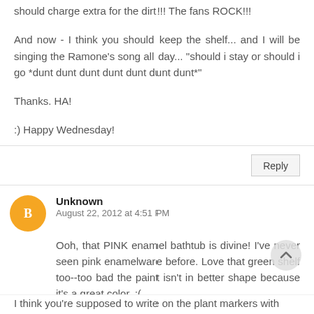should charge extra for the dirt!!! The fans ROCK!!!
And now - I think you should keep the shelf... and I will be singing the Ramone's song all day... "should i stay or should i go *dunt dunt dunt dunt dunt dunt dunt*"
Thanks. HA!
:) Happy Wednesday!
Reply
Unknown
August 22, 2012 at 4:51 PM
Ooh, that PINK enamel bathtub is divine! I've never seen pink enamelware before. Love that green shelf too--too bad the paint isn't in better shape because it's a great color. :(
I think you're supposed to write on the plant markers with